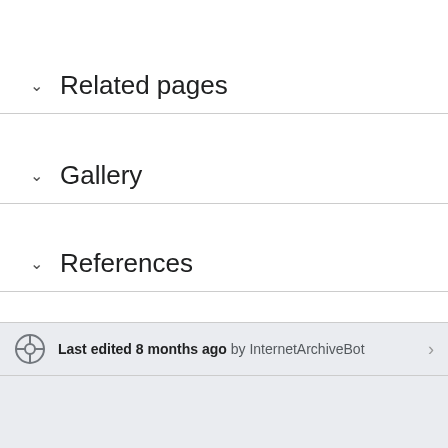Related pages
Gallery
References
Last edited 8 months ago by InternetArchiveBot